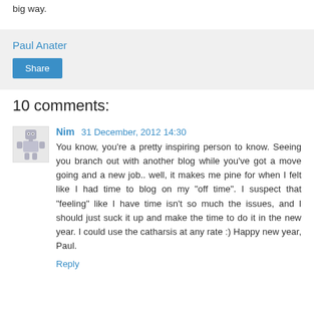big way.
Paul Anater
Share
10 comments:
Nim  31 December, 2012 14:30
You know, you're a pretty inspiring person to know. Seeing you branch out with another blog while you've got a move going and a new job.. well, it makes me pine for when I felt like I had time to blog on my "off time". I suspect that "feeling" like I have time isn't so much the issues, and I should just suck it up and make the time to do it in the new year. I could use the catharsis at any rate :) Happy new year, Paul.
Reply